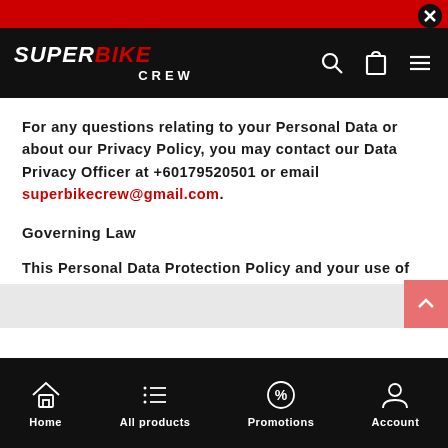[Figure (screenshot): SuperBike Crew website header with red banner, close button (X), black navigation bar with logo, search, cart and menu icons]
For any questions relating to your Personal Data or about our Privacy Policy, you may contact our Data Privacy Officer at +60179520501 or email superbikecrew@gmail.com.
Governing Law
This Personal Data Protection Policy and your use of this website shall be governed in all respects by the laws of Malaysia.
[Figure (screenshot): Bottom navigation bar with Home, All products, Promotions, Account icons on black background]